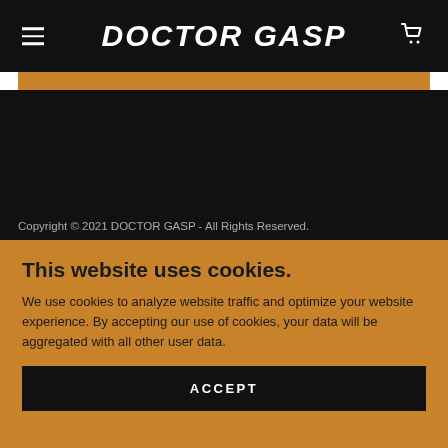DOCTOR GASP
Copyright © 2021 DOCTOR GASP - All Rights Reserved.
This website uses cookies.
We use cookies to analyze website traffic and optimize your website experience. By accepting our use of cookies, your data will be aggregated with all other user data.
ACCEPT